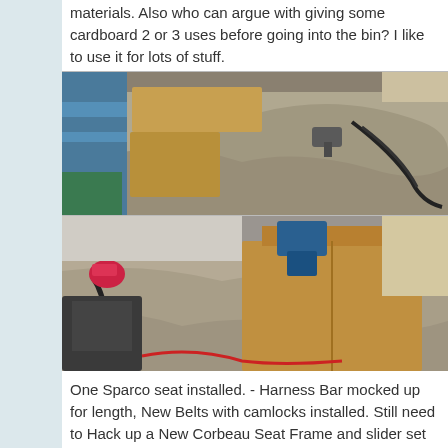materials. Also who can argue with giving some cardboard 2 or 3 uses before going into the bin? I like to use it for lots of stuff.
[Figure (photo): Workshop/garage scene showing cardboard, blue painter's tape, drop cloth/tarp, and tools including a spray gun and hose on a work surface.]
[Figure (photo): Workshop/garage scene showing cardboard boxes, drop cloth/tarp, a vacuum hose, and other tools on the floor.]
One Sparco seat installed. - Harness Bar mocked up for length, New Belts with camlocks installed. Still need to Hack up a New Corbeau Seat Frame and slider set for the driver's side. (note to self.. the Driver's Side seems to have more area to work with